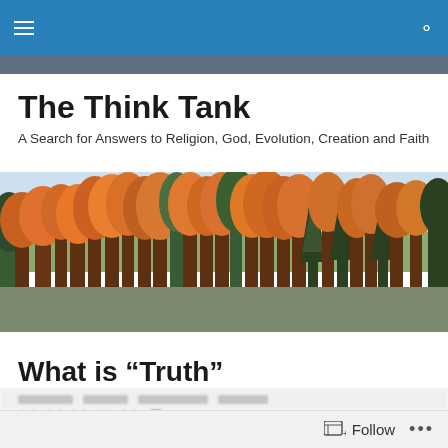The Think Tank — navigation bar
The Think Tank
A Search for Answers to Religion, God, Evolution, Creation and Faith
[Figure (photo): Autumn forest panorama with orange, red, and green trees against a light blue sky, with a grey ground/field in the foreground]
What is “Truth”
Rate This (5 empty stars with info icon)
Follow  ...